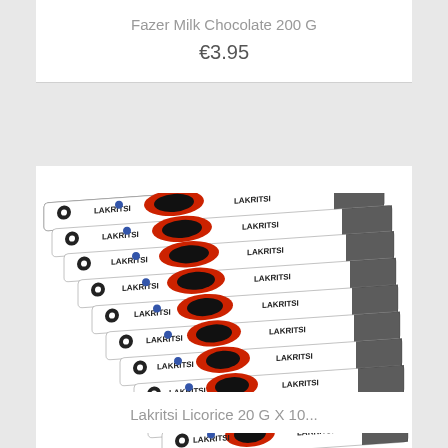Fazer Milk Chocolate 200 G
€3.95
[Figure (photo): Stack of approximately 10 Lakritsi licorice candy bars arranged diagonally, each bar showing black and white packaging with red circular design and 'LAKRITSI' text printed twice on each bar.]
Lakritsi Licorice 20 G X 10...